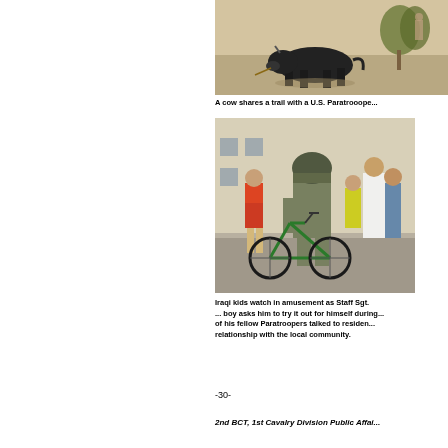[Figure (photo): A cow walking on a dirt trail, with a person visible in the background.]
A cow shares a trail with a U.S. Paratrooope...
[Figure (photo): Iraqi kids watching as a U.S. soldier in full gear rides a bicycle on a street, surrounded by local children and adults.]
Iraqi kids watch in amusement as Staff Sgt. ... boy asks him to try it out for himself during ... of his fellow Paratroopers talked to residen... relationship with the local community.
-30-
2nd BCT, 1st Cavalry Division Public Affai...